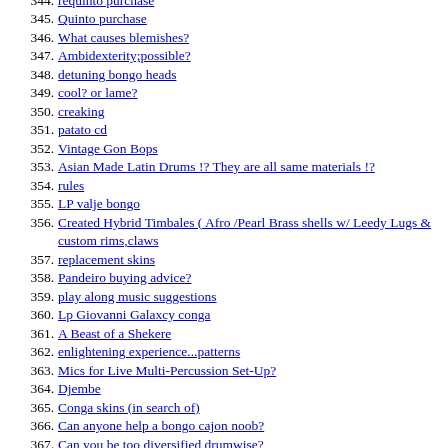344. requinto purchase
345. Quinto purchase
346. What causes blemishes?
347. Ambidexterity;possible?
348. detuning bongo heads
349. cool? or lame?
350. creaking
351. patato cd
352. Vintage Gon Bops
353. Asian Made Latin Drums !? They are all same materials !?
354. rules
355. LP valje bongo
356. Created Hybrid Timbales ( Afro /Pearl Brass shells w/ Leedy Lugs & custom rims,claws
357. replacement skins
358. Pandeiro buying advice?
359. play along music suggestions
360. Lp Giovanni Galaxcy conga
361. A Beast of a Shekere
362. enlightening experience...patterns
363. Mics for Live Multi-Percussion Set-Up?
364. Djembe
365. Conga skins (in search of)
366. Can anyone help a bongo cajon noob?
367. Can you be too diversified drumwise?
368. New Cajon box
369. rhythms for bongo
370. life cycle of skins
371. lessons